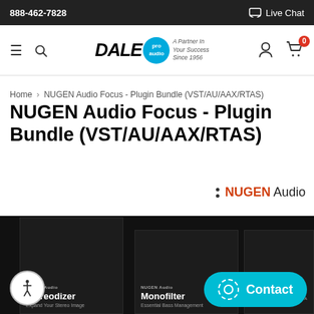888-462-7828   Live Chat
[Figure (logo): Dale Pro Audio logo with tagline: A Partner in Your Success Since 1956]
Home › NUGEN Audio Focus - Plugin Bundle (VST/AU/AAX/RTAS)
NUGEN Audio Focus - Plugin Bundle (VST/AU/AAX/RTAS)
[Figure (logo): NUGEN Audio brand logo with orange text]
[Figure (photo): Product boxes for NUGEN Audio plugins: Stereodizer, Monofilter, and a third plugin on dark background]